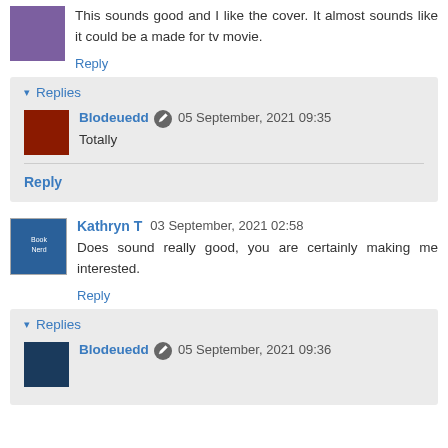This sounds good and I like the cover. It almost sounds like it could be a made for tv movie.
Reply
Replies
Blodeuedd  05 September, 2021 09:35
Totally
Reply
Kathryn T  03 September, 2021 02:58
Does sound really good, you are certainly making me interested.
Reply
Replies
Blodeuedd  05 September, 2021 09:36